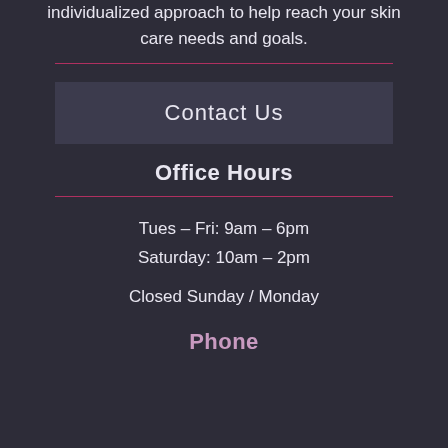individualized approach to help reach your skin care needs and goals.
Contact Us
Office Hours
Tues – Fri: 9am – 6pm
Saturday: 10am – 2pm
Closed Sunday / Monday
Phone